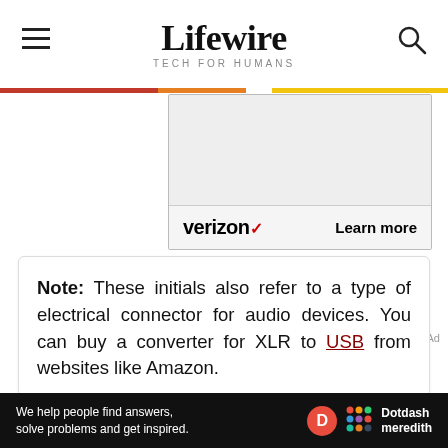Lifewire — TECH FOR HUMANS
[Figure (screenshot): Verizon advertisement banner with 'verizon' logo and 'Learn more' button on gray background]
Note: These initials also refer to a type of electrical connector for audio devices. You can buy a converter for XLR to USB from websites like Amazon.
We help people find answers, solve problems and get inspired. Dotdash meredith